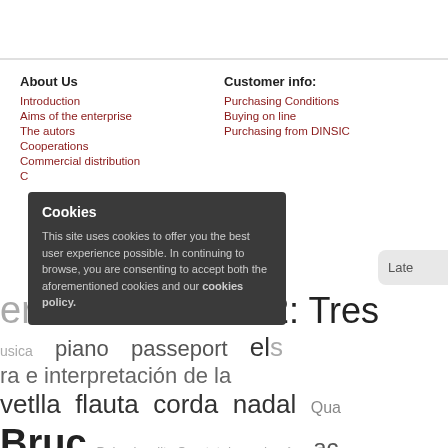About Us
Introduction
Aims of the enterprise
The autors
Cooperations
Commercial distribution
C...
Customer info:
Purchasing Conditions
Buying on line
Purchasing from DINSIC
Cookies
This site uses cookies to offer you the best user experience possible. In continuing to browse, you are consenting to accept both the aforementioned cookies and our cookies policy.
Late
er  Da Camera 22: Tres
usica  piano  passeport  els
ra e interpretación de la
vetlla  flauta  corda  nadal  Qua
Bruc  Palau insolit  Quartet de corda núm  ac